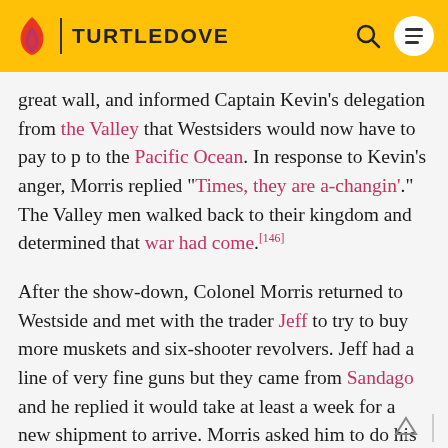TURTLEDOVE
great wall, and informed Captain Kevin's delegation from the Valley that Westsiders would now have to pay to p to the Pacific Ocean. In response to Kevin's anger, Morris replied "Times, they are a-changin'." The Valley men walked back to their kingdom and determined that war had come.[146]
After the show-down, Colonel Morris returned to Westside and met with the trader Jeff to try to buy more muskets and six-shooter revolvers. Jeff had a line of very fine guns but they came from Sandago and he replied it would take at least a week for a new shipment to arrive. Morris asked him to do his best and then left.[147]
Mort